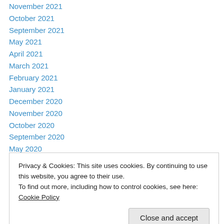November 2021
October 2021
September 2021
May 2021
April 2021
March 2021
February 2021
January 2021
December 2020
November 2020
October 2020
September 2020
May 2020
April 2020
Privacy & Cookies: This site uses cookies. By continuing to use this website, you agree to their use. To find out more, including how to control cookies, see here: Cookie Policy
November 2018